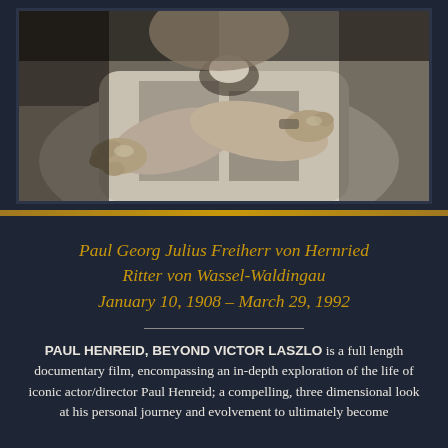[Figure (photo): Black and white photograph of a man with crossed arms, wearing a light-colored shirt, dramatic close-up shot]
Paul Georg Julius Freiherr von Hernried Ritter von Wassel-Waldingau
January 10, 1908 – March 29, 1992
PAUL HENREID, BEYOND VICTOR LASZLO is a full length documentary film, encompassing an in-depth exploration of the life of iconic actor/director Paul Henreid; a compelling, three dimensional look at his personal journey and evolvement to ultimately become